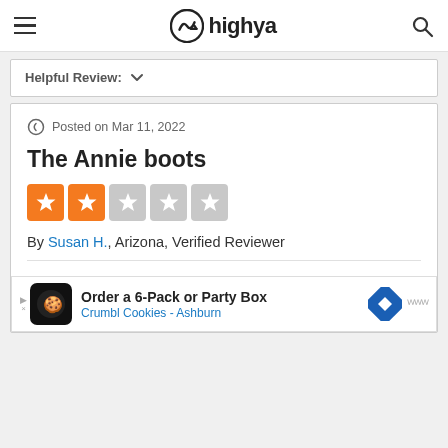highya
Helpful Review:
Posted on Mar 11, 2022
The Annie boots
By Susan H., Arizona, Verified Reviewer
I purchased a pair of The Annie in November of 2021. I liked them so much that I purchased
Order a 6-Pack or Party Box Crumbl Cookies - Ashburn